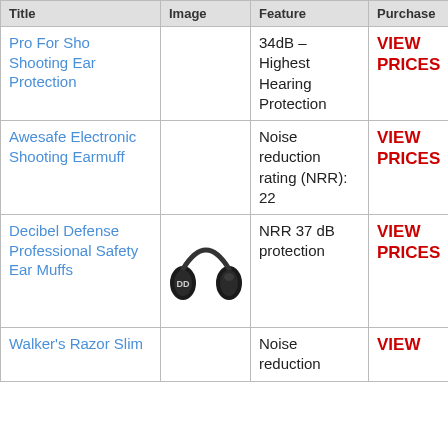| Title | Image | Feature | Purchase |
| --- | --- | --- | --- |
| Pro For Sho Shooting Ear Protection |  | 34dB – Highest Hearing Protection | VIEW PRICES |
| Awesafe Electronic Shooting Earmuff |  | Noise reduction rating (NRR): 22 | VIEW PRICES |
| Decibel Defense Professional Safety Ear Muffs | [earmuff image] | NRR 37 dB protection | VIEW PRICES |
| Walker's Razor Slim |  | Noise reduction | VIEW |